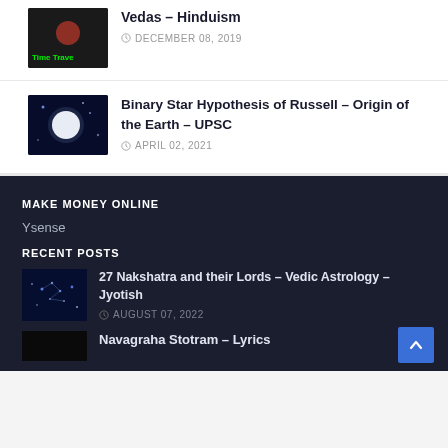[Figure (photo): Thumbnail image with 'Time Travel' text on dark background]
Vedas – Hinduism
DECEMBER 08, 2019
[Figure (photo): Space/night sky with bright white star or moon]
Binary Star Hypothesis of Russell – Origin of the Earth – UPSC
APRIL 02, 2021
MAKE MONEY ONLINE
Ysense
RECENT POSTS
[Figure (photo): Dark blue starry sky constellation photo]
27 Nakshatra and their Lords – Vedic Astrology – Jyotish
AUGUST 07, 2022
[Figure (photo): Dark thumbnail partially visible]
Navagraha Stotram – Lyrics